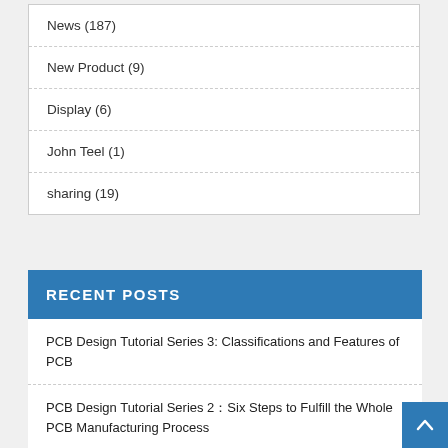News (187)
New Product (9)
Display (6)
John Teel (1)
sharing (19)
RECENT POSTS
PCB Design Tutorial Series 3: Classifications and Features of PCB
PCB Design Tutorial Series 2：Six Steps to Fulfill the Whole PCB Manufacturing Process
PCB Design Tutorial Series 1：10 Points You Need to Know in PCB Design for Manufacturing
The First Step to Create Your Own Mechanical Keyboard